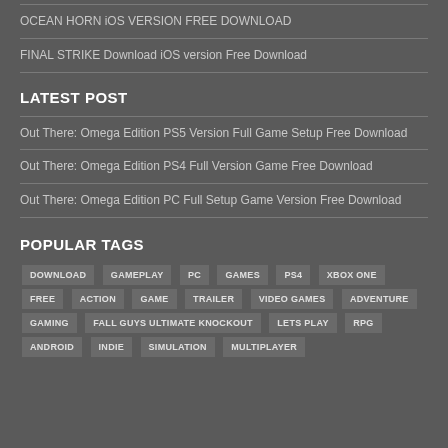OCEAN HORN iOS VERSION FREE DOWNLOAD
FINAL STRIKE Download iOS version Free Download
LATEST POST
Out There: Omega Edition PS5 Version Full Game Setup Free Download
Out There: Omega Edition PS4 Full Version Game Free Download
Out There: Omega Edition PC Full Setup Game Version Free Download
POPULAR TAGS
DOWNLOAD GAMEPLAY PC GAMES PS4 XBOX ONE FREE ACTION GAME TRAILER VIDEO GAMES ADVENTURE GAMING FALL GUYS ULTIMATE KNOCKOUT LETS PLAY RPG ANDROID INDIE SIMULATION MULTIPLAYER